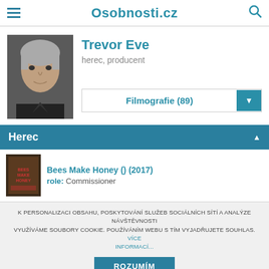Osobnosti.cz
[Figure (photo): Black and white portrait photo of Trevor Eve, older man with grey hair]
Trevor Eve
herec, producent
Filmografie (89)
Herec
[Figure (photo): Movie poster for Bees Make Honey (2017)]
Bees Make Honey () (2017) role: Commissioner
K PERSONALIZACI OBSAHU, POSKYTOVÁNÍ SLUŽEB SOCIÁLNÍCH SÍTÍ A ANALÝZE NÁVŠTĚVNOSTI VYUŽÍVÁME SOUBORY COOKIE. POUŽÍVÁNÍM WEBU S TÍM VYJADŘUJETE SOUHLAS. VÍCE INFORMACÍ...
ROZUMÍM